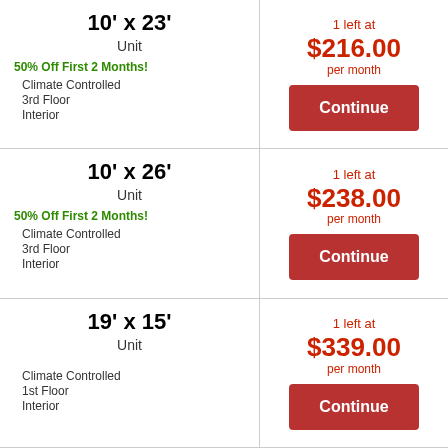10' x 23' Unit | 50% Off First 2 Months! | Climate Controlled | 3rd Floor | Interior
1 left at $216.00 per month | Continue
10' x 26' Unit | 50% Off First 2 Months! | Climate Controlled | 3rd Floor | Interior
1 left at $238.00 per month | Continue
19' x 15' Unit | Climate Controlled | 1st Floor | Interior
1 left at $339.00 per month | Continue